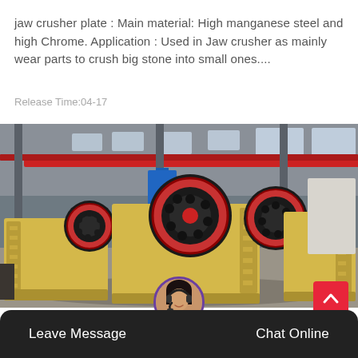jaw crusher plate : Main material: High manganese steel and high Chrome. Application : Used in Jaw crusher as mainly wear parts to crush big stone into small ones....
Release Time:04-17
[Figure (photo): Industrial jaw crushers (yellow/black machines with red flywheel rings) on a factory floor inside a large steel-frame warehouse with red overhead crane.]
Leave Message  Chat Online